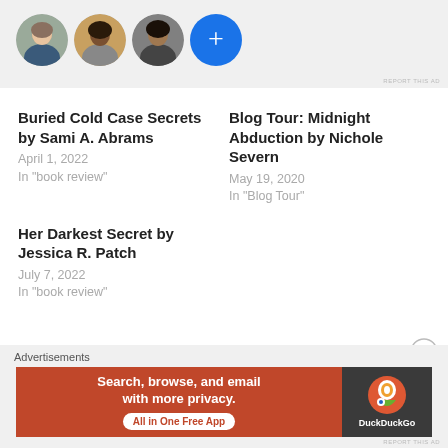[Figure (other): Top banner ad area with profile avatars: three circular profile photos (woman with light skin, woman with dark skin, man) and a blue circle with a plus sign. 'REPORT THIS AD' text at bottom right.]
Buried Cold Case Secrets by Sami A. Abrams
April 1, 2022
In "book review"
Blog Tour: Midnight Abduction by Nichole Severn
May 19, 2020
In "Blog Tour"
Her Darkest Secret by Jessica R. Patch
July 7, 2022
In "book review"
[Figure (other): Close/dismiss button (circle with X) in the lower right area of the page]
Advertisements
[Figure (other): DuckDuckGo advertisement banner: orange-red left panel with text 'Search, browse, and email with more privacy. All in One Free App' and dark right panel with DuckDuckGo logo and brand name. 'REPORT THIS AD' below.]